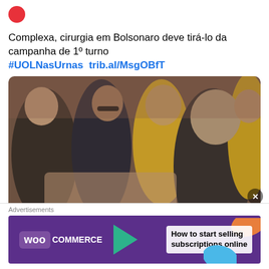[Figure (logo): Red circular logo icon]
Complexa, cirurgia em Bolsonaro deve tirá-lo da campanha de 1º turno #UOLNasUrnas  trib.al/MsgOBfT
[Figure (photo): Photo of Jair Bolsonaro being lifted or surrounded by security personnel and crowd during the 2018 stabbing incident]
11:44 PM · Sep 6, 2018
♡  48    Reply    Copy link
Advertisements
[Figure (other): WooCommerce advertisement banner: 'How to start selling subscriptions online']